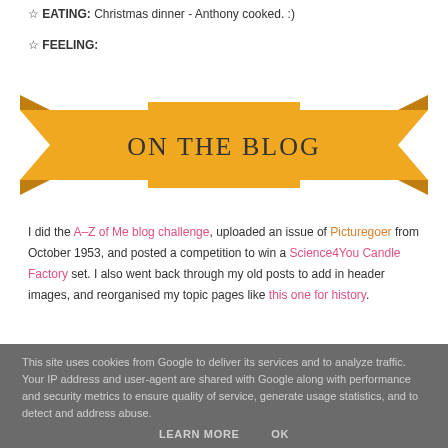☆ EATING: Christmas dinner - Anthony cooked. :)
☆ FEELING:
[Figure (illustration): Orange decorative ribbon banner with the text 'ON THE BLOG' in large letters]
I did the A-Z of Me blog challenge, uploaded an issue of Picturegoer from October 1953, and posted a competition to win a Science4You Candle Factory set. I also went back through my old posts to add in header images, and reorganised my topic pages like this one for history.
This site uses cookies from Google to deliver its services and to analyze traffic. Your IP address and user-agent are shared with Google along with performance and security metrics to ensure quality of service, generate usage statistics, and to detect and address abuse.
LEARN MORE    OK